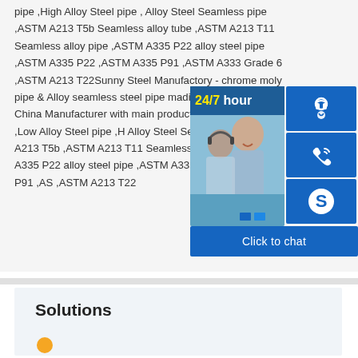pipe ,High Alloy Steel pipe , Alloy Steel Seamless pipe ,ASTM A213 T5b Seamless alloy tube ,ASTM A213 T11 Seamless alloy pipe ,ASTM A335 P22 alloy steel pipe ,ASTM A335 P22 ,ASTM A335 P91 ,ASTM A333 Grade 6 ,ASTM A213 T22Sunny Steel Manufactory - chrome moly pipe & Alloy seamless steel pipe mading chinaSunny Steel China Manufacturer with main products:chrome moly pipe ,Alloy Steel pipe ,Low Alloy Steel pipe ,High Alloy Steel Seamless pipe ,ASTM A213 T5b ,ASTM A213 T11 Seamless alloy pipe ,ASTM A335 P22 alloy steel pipe ,ASTM A335 P22 ,ASTM A335 P91 ,ASTM A213 T22
[Figure (screenshot): 24/7 hour chat widget overlay with customer service photo and blue icon panels (headset, phone, Skype icons) and Click to chat button]
Solutions